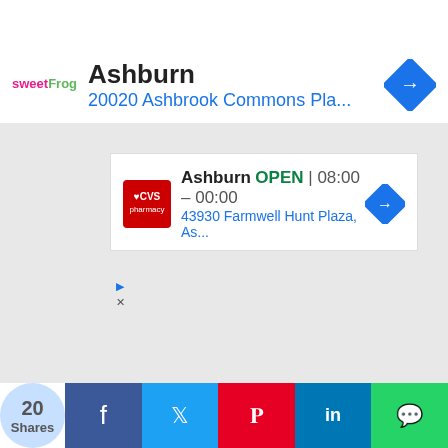[Figure (screenshot): Advertisement banner: sweetFrog logo, Ashburn, 20020 Ashbrook Commons Pla... with navigation arrow icon]
...alary per month – ₦161,478.29
Annual Salary – ₦1,937,739.48
10b. Superintendent Of Police On Grade 11 (step 10)
Salary per month – ₦187,616.69
Annual Salary – ₦2,251400.28
11a. Chief Of Superintendent Of Police on Grade 12...
[Figure (screenshot): Advertisement: CVS pharmacy, Ashburn OPEN 08:00 – 00:00, 43930 Farmwell Hunt Plaza, As...]
[Figure (infographic): Social share bar: 20 Shares, Facebook, Twitter, Pinterest, LinkedIn, WhatsApp]